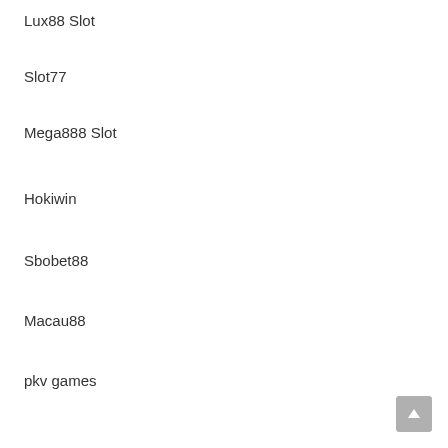Lux88 Slot
Slot77
Mega888 Slot
Hokiwin
Sbobet88
Macau88
pkv games